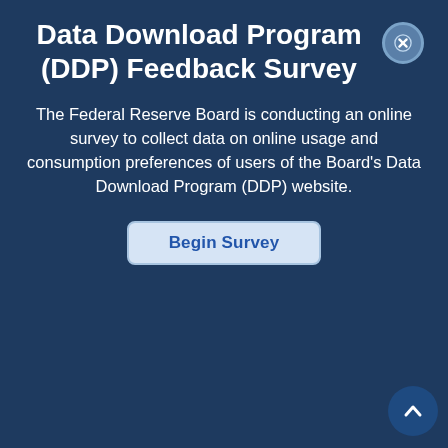Data Download Program (DDP) Feedback Survey
The Federal Reserve Board is conducting an online survey to collect data on online usage and consumption preferences of users of the Board's Data Download Program (DDP) website.
Begin Survey
|  | Col1 | Col2 | Col3 |
| --- | --- | --- | --- |
| Feb 1993 | 811,702.62 | 283,050.00 | 528,652.62 |
| Mar 1993 | 807,262.00 | 281,767.00 | 525,495.00 |
| Apr 1993 | 813,561.76 | 283,450.00 | 530,111.76 |
| May 1993 | 812,922.24 | 285,078.00 | 527,844.24 |
| Jun 1993 | 818,662.00 | 286,864.00 | 531,798.00 |
| Jul 1993 | 823,982.92 | 290,805.00 | 533,177.92 |
| Aug 1993 | 833,711.85 | 294,564.00 | 539,147.85 |
| Sep 1993 | 842,668.00 | 298,288.00 | 544,380.00 |
| Oct 1993 | 849,402.09 | 300,503.00 | 548,899.09 |